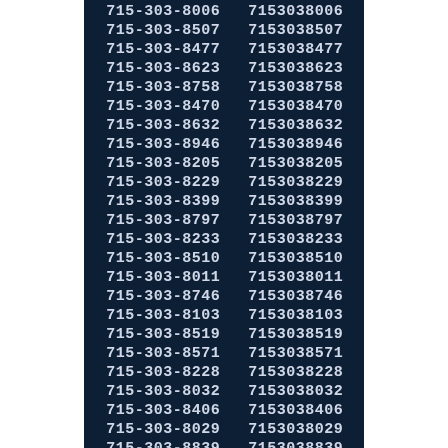| 715-303-8006 | 7153038006 |
| 715-303-8507 | 7153038507 |
| 715-303-8477 | 7153038477 |
| 715-303-8623 | 7153038623 |
| 715-303-8758 | 7153038758 |
| 715-303-8470 | 7153038470 |
| 715-303-8632 | 7153038632 |
| 715-303-8946 | 7153038946 |
| 715-303-8205 | 7153038205 |
| 715-303-8229 | 7153038229 |
| 715-303-8399 | 7153038399 |
| 715-303-8797 | 7153038797 |
| 715-303-8233 | 7153038233 |
| 715-303-8510 | 7153038510 |
| 715-303-8011 | 7153038011 |
| 715-303-8746 | 7153038746 |
| 715-303-8103 | 7153038103 |
| 715-303-8519 | 7153038519 |
| 715-303-8571 | 7153038571 |
| 715-303-8228 | 7153038228 |
| 715-303-8032 | 7153038032 |
| 715-303-8406 | 7153038406 |
| 715-303-8029 | 7153038029 |
| 715-303-8839 | 7153038839 |
| 715-303-8509 | 7153038509 |